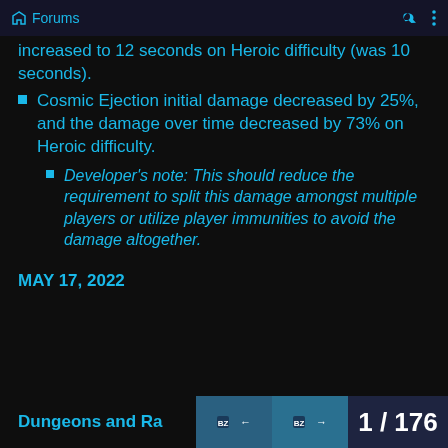Forums
increased to 12 seconds on Heroic difficulty (was 10 seconds).
Cosmic Ejection initial damage decreased by 25%, and the damage over time decreased by 73% on Heroic difficulty.
Developer’s note: This should reduce the requirement to split this damage amongst multiple players or utilize player immunities to avoid the damage altogether.
MAY 17, 2022
Dungeons and Ra
1 / 176